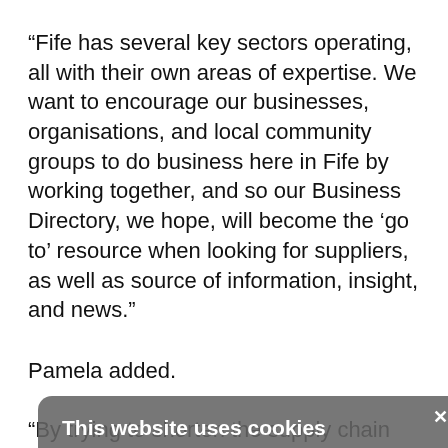“Fife has several key sectors operating, all with their own areas of expertise. We want to encourage our businesses, organisations, and local community groups to do business here in Fife by working together, and so our Business Directory, we hope, will become the ‘go to’ resource when looking for suppliers, as well as source of information, insight, and news."
[Figure (screenshot): Cookie consent overlay dialog with title 'This website uses cookies', body text about cookie policy, Accept All and Decline All buttons, and Show Details option. A close (X) button appears in the top right corner.]
Pamela added.
“By trying to shorten the supply chain and keep contracts here in Fife, we strive to bolster the local economy, keep and attract high-skilled workers, and safeguard Fife